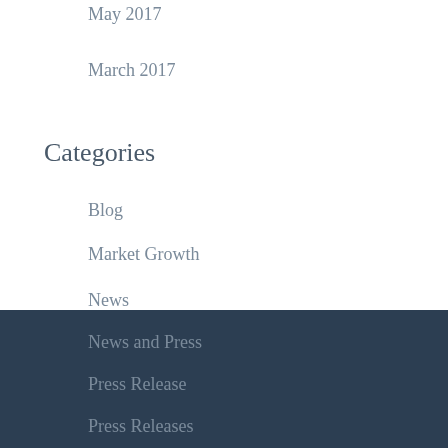May 2017
March 2017
Categories
Blog
Market Growth
News
News and Press
Press Release
Press Releases
Thought Leadership